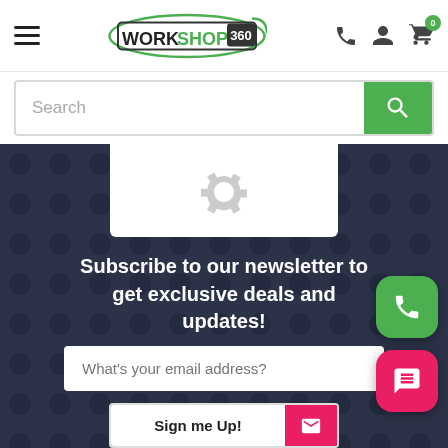[Figure (screenshot): Workshop 360 e-commerce website screenshot showing header with hamburger menu, logo, phone/account/cart icons, search bar, a product placeholder with gear icon, newsletter subscription section with email input and Sign me Up button, floating phone and chat buttons]
Search
Subscribe to our newsletter to get exclusive deals and updates!
What's your email address?
Sign me Up!